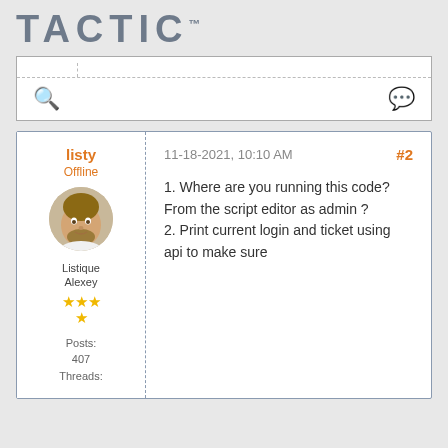[Figure (logo): TACTIC logo in large grey bold uppercase letters with TM superscript]
[Figure (screenshot): Search bar UI element with dashed border top, search icon on left, chat bubble icon on right]
listy
Offline
[Figure (photo): Circular avatar photo of a man with beard]
Listique Alexey
★★★ ★ (3.5 stars)
Posts: 407
Threads:
11-18-2021, 10:10 AM
#2
1. Where are you running this code? From the script editor as admin ?
2. Print current login and ticket using api to make sure